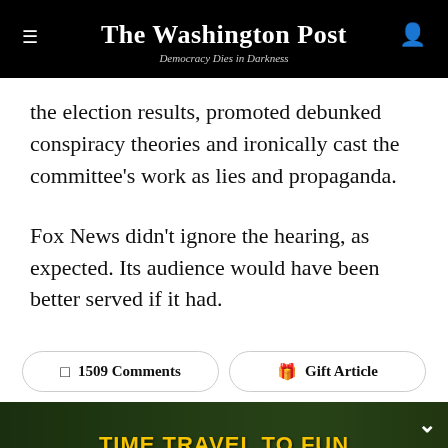The Washington Post — Democracy Dies in Darkness
the election results, promoted debunked conspiracy theories and ironically cast the committee's work as lies and propaganda.
Fox News didn't ignore the hearing, as expected. Its audience would have been better served if it had.
☐ 1509 Comments    🎁 Gift Article
[Figure (photo): Advertisement banner for Maryland Renaissance Festival with crowd photo background. Text reads: TIME TRAVEL TO FUN / MARYLAND RENAISSANCE FESTIVAL OPENS SATURDAY! / ALL TICKETS SOLD ONLINE]